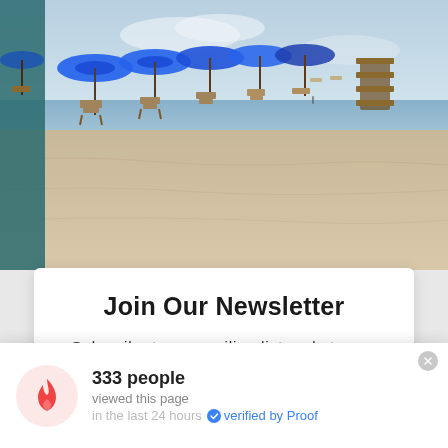[Figure (photo): Beach scene with rows of blue umbrellas and wooden lounge chairs on sandy beach, ocean and sky in background]
Join Our Newsletter
Subscribe to our mailing list and stay up to date about the company!
Email
333 people viewed this page in the last 24 hours   verified by Proof